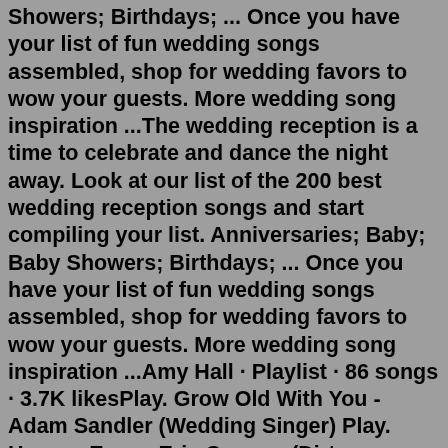Showers; Birthdays; ... Once you have your list of fun wedding songs assembled, shop for wedding favors to wow your guests. More wedding song inspiration ...The wedding reception is a time to celebrate and dance the night away. Look at our list of the 200 best wedding reception songs and start compiling your list. Anniversaries; Baby; Baby Showers; Birthdays; ... Once you have your list of fun wedding songs assembled, shop for wedding favors to wow your guests. More wedding song inspiration ...Amy Hall · Playlist · 86 songs · 3.7K likesPlay. Grow Old With You - Adam Sandler (Wedding Singer) Play. Hungry Eyes - Eric Carmen (Dirty Dancing) Play. Iris - Goo Goo Dolls (City of Angels) Play. Can You Feel The Love Tonight - Elton John (Lion King) Play.May 12, 2017 · And if you ask us, the songs you include at the key moments in your day, go a long way to creating the kind of vibe you want from your wedding. And your first dance is one of those moments. We've already shared our picks impossibly romantic first dances (the kind of songs that'll make everyone in the